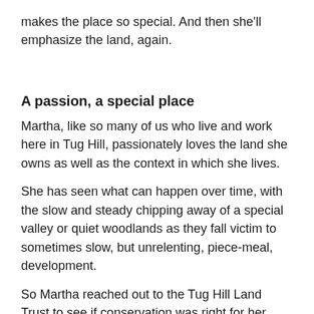makes the place so special. And then she'll emphasize the land, again.
A passion, a special place
Martha, like so many of us who live and work here in Tug Hill, passionately loves the land she owns as well as the context in which she lives.
She has seen what can happen over time, with the slow and steady chipping away of a special valley or quiet woodlands as they fall victim to sometimes slow, but unrelenting, piece-meal, development.
So Martha reached out to the Tug Hill Land Trust to see if conservation was right for her.
“I wanted to know that not just in a few years, but many generations down the road, there will still be open land for farming, for animals, for birds, for the